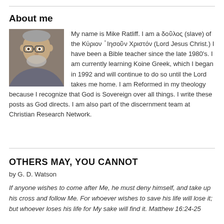About me
[Figure (photo): Headshot photo of Mike Ratliff, a middle-aged man with glasses and gray hair]
My name is Mike Ratliff. I am a δοῦλος (slave) of the Κύριον ᾿Ιησοῦν Χριστόν (Lord Jesus Christ.) I have been a Bible teacher since the late 1980's. I am currently learning Koine Greek, which I began in 1992 and will continue to do so until the Lord takes me home. I am Reformed in my theology because I recognize that God is Sovereign over all things. I write these posts as God directs. I am also part of the discernment team at Christian Research Network.
OTHERS MAY, YOU CANNOT
by G. D. Watson
If anyone wishes to come after Me, he must deny himself, and take up his cross and follow Me. For whoever wishes to save his life will lose it; but whoever loses his life for My sake will find it. Matthew 16:24-25